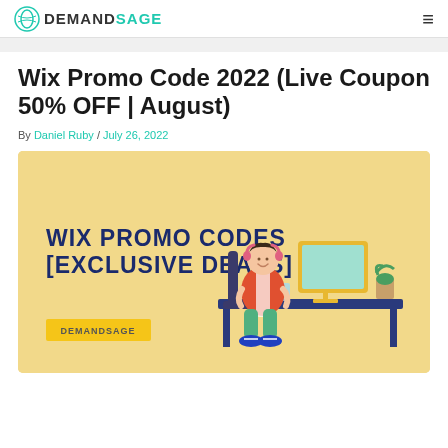DEMANDSAGE
Wix Promo Code 2022 (Live Coupon 50% OFF | August)
By Daniel Ruby / July 26, 2022
[Figure (illustration): Promotional banner with sandy yellow background showing a 3D character sitting at a desk with a computer. Text reads 'WIX PROMO CODES [EXCLUSIVE DEALS]' in dark blue bold font. A yellow 'DEMANDSAGE' label appears at bottom left.]